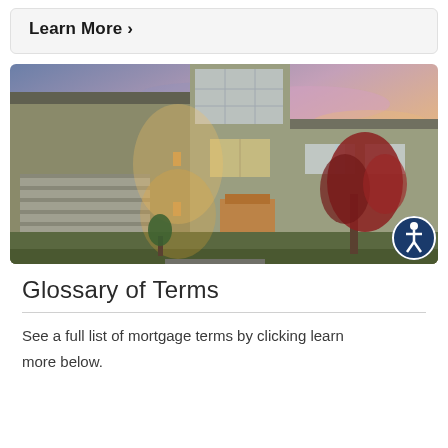Learn More >
[Figure (photo): Modern two-story house exterior at dusk with warm lighting on the front door and garage, colorful sunset sky in background, and red maple tree. Accessibility icon button in bottom right corner.]
Glossary of Terms
See a full list of mortgage terms by clicking learn more below.